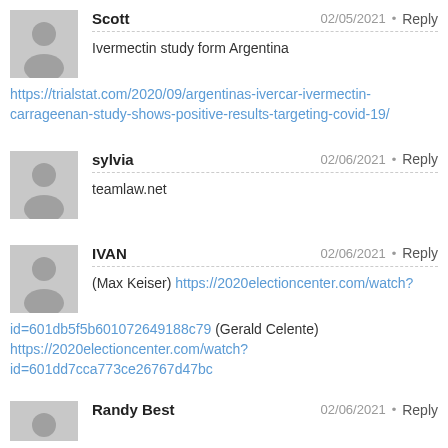Scott  02/05/2021 • Reply
Ivermectin study form Argentina
https://trialstat.com/2020/09/argentinas-ivercar-ivermectin-carrageenan-study-shows-positive-results-targeting-covid-19/
sylvia  02/06/2021 • Reply
teamlaw.net
IVAN  02/06/2021 • Reply
(Max Keiser) https://2020electioncenter.com/watch?id=601db5f5b601072649188c79 (Gerald Celente) https://2020electioncenter.com/watch?id=601dd7cca773ce26767d47bc
Randy Best  02/06/2021 • Reply